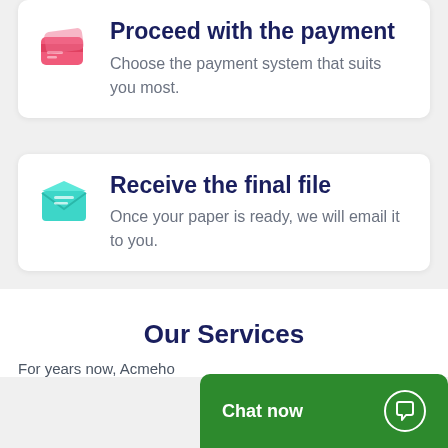Proceed with the payment
Choose the payment system that suits you most.
Receive the final file
Once your paper is ready, we will email it to you.
Our Services
For years now, Acmeho
Chat now